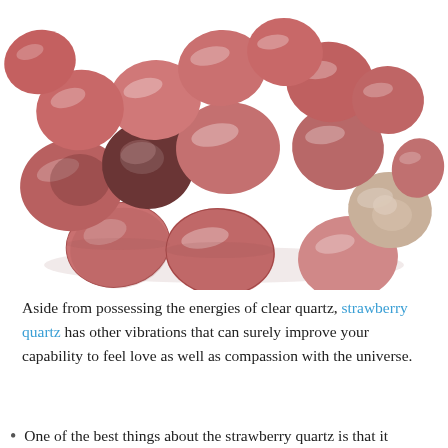[Figure (photo): A collection of tumbled strawberry quartz stones in various shades of pink, rose-red, and brownish-pink, some with white/beige patches, piled together on a white background.]
Aside from possessing the energies of clear quartz, strawberry quartz has other vibrations that can surely improve your capability to feel love as well as compassion with the universe.
One of the best things about the strawberry quartz is that it